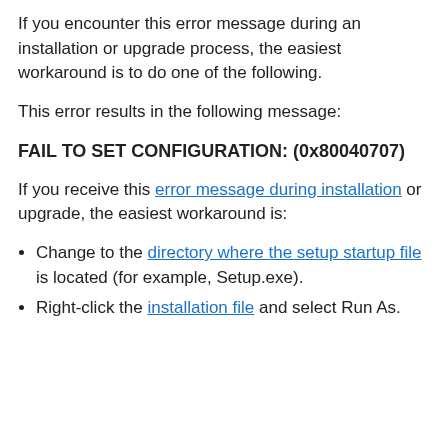If you encounter this error message during an installation or upgrade process, the easiest workaround is to do one of the following.
This error results in the following message:
FAIL TO SET CONFIGURATION: (0x80040707)
If you receive this error message during installation or upgrade, the easiest workaround is:
Change to the directory where the setup startup file is located (for example, Setup.exe).
Right-click the installation file and select Run As.